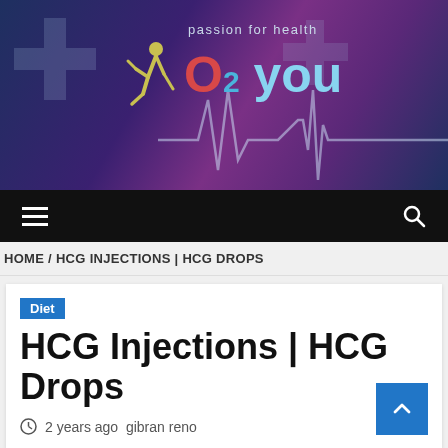[Figure (logo): O2 You health website logo banner with runner icon, heartbeat ECG line, cross symbols, and tagline 'passion for health']
HOME / HCG INJECTIONS | HCG DROPS
Diet
HCG Injections | HCG Drops
2 years ago  gibran reno